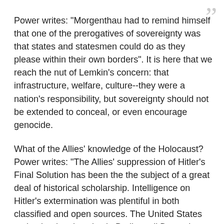Power writes: "Morgenthau had to remind himself that one of the prerogatives of sovereignty was that states and statesmen could do as they please within their own borders". It is here that we reach the nut of Lemkin's concern: that infrastructure, welfare, culture--they were a nation's responsibility, but sovereignty should not be extended to conceal, or even encourage genocide.
What of the Allies' knowledge of the Holocaust? Power writes: "The Allies' suppression of Hitler's Final Solution has been the the subject of a great deal of historical scholarship. Intelligence on Hitler's extermination was plentiful in both classified and open sources. The United States maintained embassies in Berlin until December 1941, in Budapest and Bucharest until January 1942, and in Vichy France until late 1942". Power continues: "In November 1942, Rabbi Wise, who knew President Roosevelt personally, told a Washington press conference